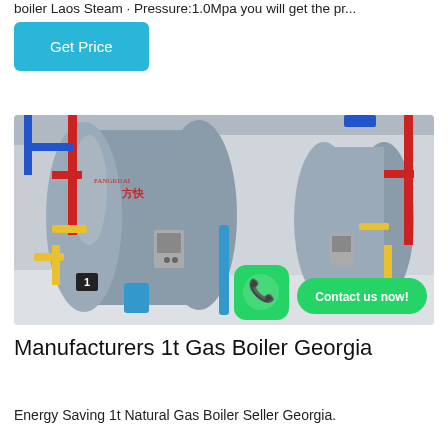boiler Laos Steam · Pressure:1.0Mpa you will get the pr...
Get Price
[Figure (photo): Industrial gas boilers in a manufacturing facility. Two large cylindrical horizontal boilers with Chinese branding (方快/Fangkuai), painted blue/grey with red and yellow pipe fittings. WhatsApp contact overlay with green 'Contact us now!' badge in bottom right corner.]
Manufacturers 1t Gas Boiler Georgia
Energy Saving 1t Natural Gas Boiler Seller Georgia.